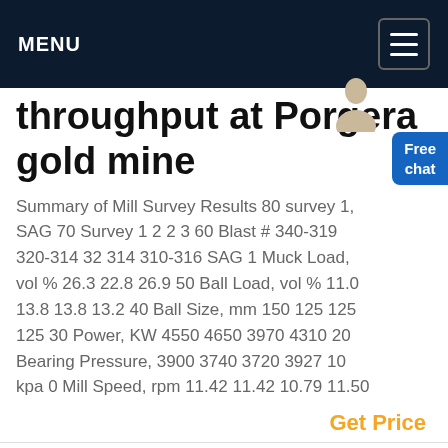MENU
throughput at Porgera gold mine
Summary of Mill Survey Results 80 survey 1, SAG 70 Survey 1 2 2 3 60 Blast # 340-319 320-314 32 314 310-316 SAG 1 Muck Load, vol % 26.3 22.8 26.9 50 Ball Load, vol % 11.0 13.8 13.8 13.2 40 Ball Size, mm 150 125 125 125 30 Power, KW 4550 4650 3970 4310 20 Bearing Pressure, 3900 3740 3720 3927 10 kpa 0 Mill Speed, rpm 11.42 11.42 10.79 11.50
Get Price
Get a Quote
WhatsApp